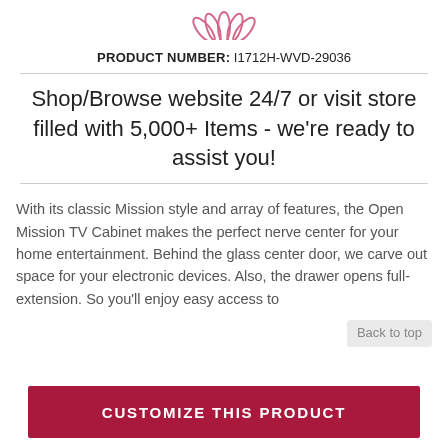[Figure (logo): Decorative floral/petal logo mark in pink/rose color at the top center]
PRODUCT NUMBER: I1712H-WVD-29036
Shop/Browse website 24/7 or visit store filled with 5,000+ Items - we're ready to assist you!
With its classic Mission style and array of features, the Open Mission TV Cabinet makes the perfect nerve center for your home entertainment. Behind the glass center door, we carve out space for your electronic devices. Also, the drawer opens full-extension. So you'll enjoy easy access to
Back to top
CUSTOMIZE THIS PRODUCT